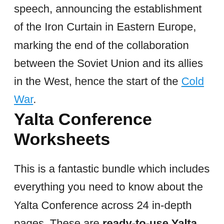speech, announcing the establishment of the Iron Curtain in Eastern Europe, marking the end of the collaboration between the Soviet Union and its allies in the West, hence the start of the Cold War.
Yalta Conference Worksheets
This is a fantastic bundle which includes everything you need to know about the Yalta Conference across 24 in-depth pages. These are ready-to-use Yalta Conference